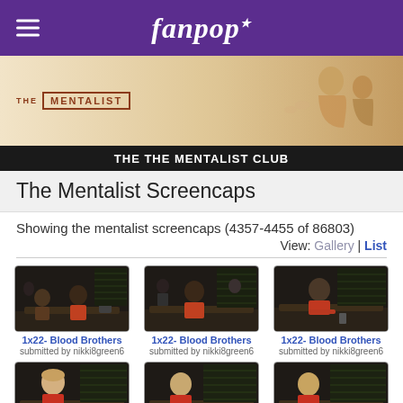fanpop
[Figure (screenshot): The Mentalist TV show banner with logo and cast photo]
THE THE MENTALIST CLUB
The Mentalist Screencaps
Showing the mentalist screencaps (4357-4455 of 86803)
View: Gallery | List
[Figure (screenshot): 1x22- Blood Brothers screencap, submitted by nikki8green6]
1x22- Blood Brothers
submitted by nikki8green6
[Figure (screenshot): 1x22- Blood Brothers screencap, submitted by nikki8green6]
1x22- Blood Brothers
submitted by nikki8green6
[Figure (screenshot): 1x22- Blood Brothers screencap, submitted by nikki8green6]
1x22- Blood Brothers
submitted by nikki8green6
[Figure (screenshot): 1x22- Blood Brothers screencap, submitted by nikki8green6]
1x22- Blood Brothers
submitted by nikki8green6
[Figure (screenshot): 1x22- Blood Brothers screencap, submitted by nikki8green6]
1x22- Blood Brothers
submitted by nikki8green6
[Figure (screenshot): 1x22- Blood Brothers screencap, submitted by nikki8green6]
1x22- Blood Brothers
submitted by nikki8green6